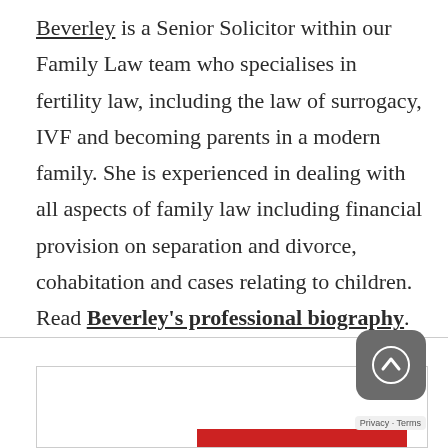Beverley is a Senior Solicitor within our Family Law team who specialises in fertility law, including the law of surrogacy, IVF and becoming parents in a modern family. She is experienced in dealing with all aspects of family law including financial provision on separation and divorce, cohabitation and cases relating to children. Read Beverley's professional biography.